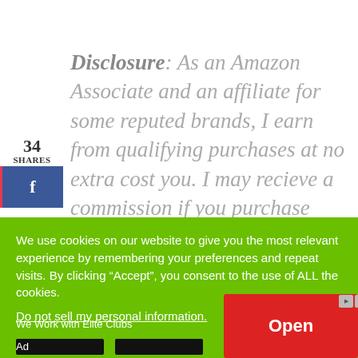Disclosure: As an Amazon Associate and an affiliate for some reputed brands, I earn from qualifying purchases at no extra cost you. I may recieve a commission if you purchase something
34 SHARES
We use cookies on our website to give you the most relevant experience by remembering your preferences and repeat visits. By clicking “Accept”, you consent to the use of ALL the cookies.
Do not sell my personal information.
We Work with Elite Clubs
Open
Ad